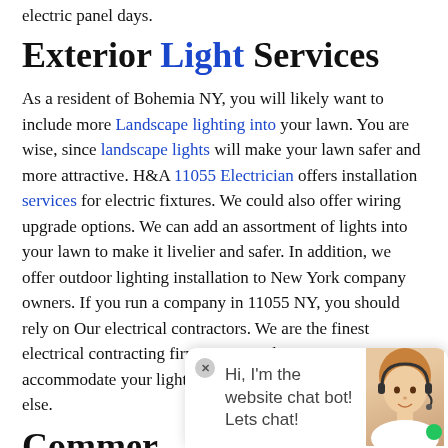electric panel days.
Exterior Light Services
As a resident of Bohemia NY, you will likely want to include more Landscape lighting into your lawn. You are wise, since landscape lights will make your lawn safer and more attractive. H&A 11055 Electrician offers installation services for electric fixtures. We could also offer wiring upgrade options. We can add an assortment of lights into your lawn to make it livelier and safer. In addition, we offer outdoor lighting installation to New York company owners. If you run a company in 11055 NY, you should rely on Our electrical contractors. We are the finest electrical contracting firm in NY so that we can accommodate your lighting needs better than anybody else.
Commercial Services
[Figure (other): Website chat bot widget overlay showing a chat bot avatar and the message 'Hi, I'm the website chat bot! Lets chat!']